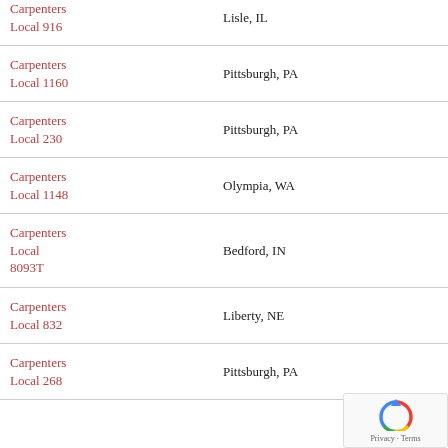| Name | Location | Value |
| --- | --- | --- |
| Carpenters Local 916 | Lisle, IL | 0 |
| Carpenters Local 1160 | Pittsburgh, PA | 0 |
| Carpenters Local 230 | Pittsburgh, PA | 0 |
| Carpenters Local 1148 | Olympia, WA | 0 |
| Carpenters Local 8093T | Bedford, IN | 0 |
| Carpenters Local 832 | Liberty, NE | 0 |
| Carpenters Local 268 | Pittsburgh, PA |  |